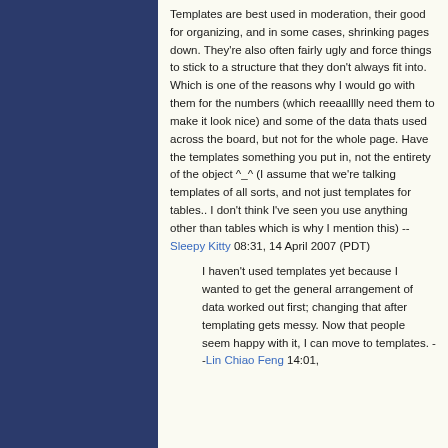Templates are best used in moderation, their good for organizing, and in some cases, shrinking pages down. They're also often fairly ugly and force things to stick to a structure that they don't always fit into. Which is one of the reasons why I would go with them for the numbers (which reeaalllly need them to make it look nice) and some of the data thats used across the board, but not for the whole page. Have the templates something you put in, not the entirety of the object ^_^ (I assume that we're talking templates of all sorts, and not just templates for tables.. I don't think I've seen you use anything other than tables which is why I mention this) --Sleepy Kitty 08:31, 14 April 2007 (PDT)
I haven't used templates yet because I wanted to get the general arrangement of data worked out first; changing that after templating gets messy. Now that people seem happy with it, I can move to templates. --Lin Chiao Feng 14:01, 14 April 2007 (PDT)